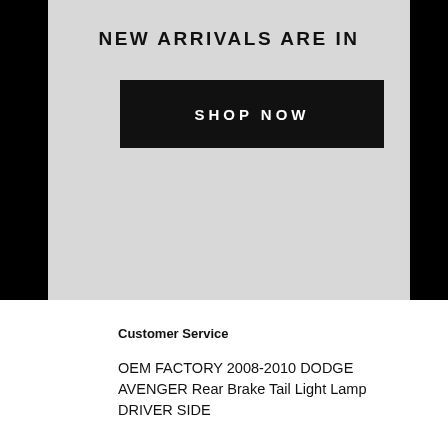NEW ARRIVALS ARE IN
SHOP NOW
Contact Us
Admin@csgosmurfkart.com
Customer Service
OEM FACTORY 2008-2010 DODGE AVENGER Rear Brake Tail Light Lamp DRIVER SIDE